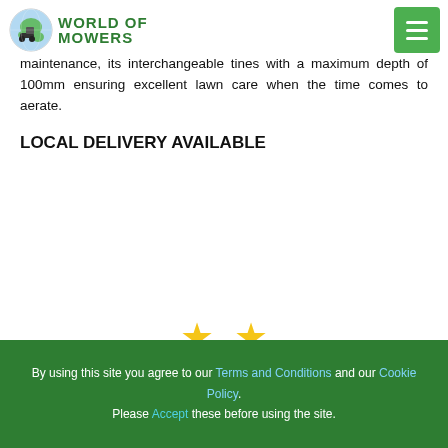World of Mowers
maintenance, its interchangeable tines with a maximum depth of 100mm ensuring excellent lawn care when the time comes to aerate.
LOCAL DELIVERY AVAILABLE
[Figure (other): Two yellow star rating icons centered on the page]
By using this site you agree to our Terms and Conditions and our Cookie Policy. Please Accept these before using the site.